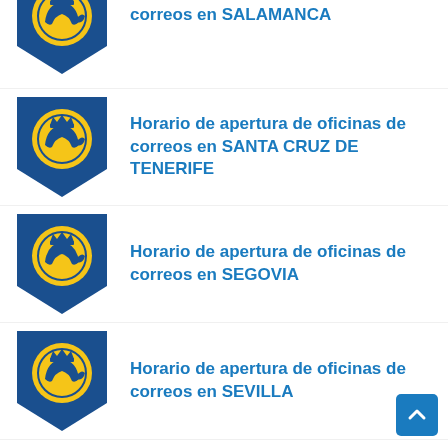Horario de apertura de oficinas de correos en SALAMANCA
Horario de apertura de oficinas de correos en SANTA CRUZ DE TENERIFE
Horario de apertura de oficinas de correos en SEGOVIA
Horario de apertura de oficinas de correos en SEVILLA
Horario de apertura de oficinas de correos en SORIA